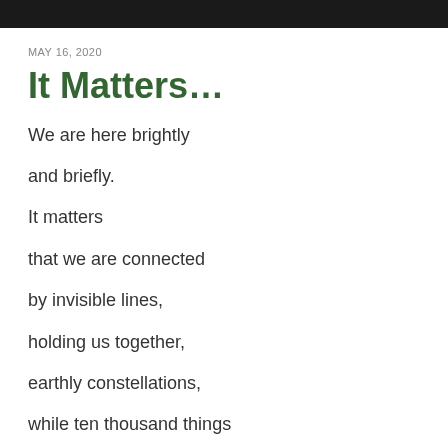[Figure (photo): Dark/black photo strip at the top of the page]
MAY 16, 2020
It Matters…
We are here brightly
and briefly.
It matters
that we are connected
by invisible lines,
holding us together,
earthly constellations,
while ten thousand things